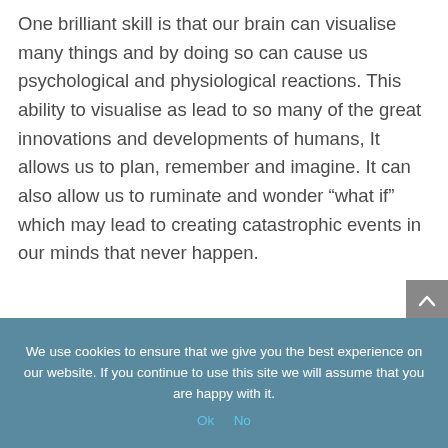One brilliant skill is that our brain can visualise many things and by doing so can cause us psychological and physiological reactions.  This ability to visualise as lead to so many of the great innovations and developments of humans,  It allows us to plan, remember and imagine.  It can also allow us to ruminate and wonder “what if” which may lead to creating catastrophic events in our minds that never happen.
We use cookies to ensure that we give you the best experience on our website. If you continue to use this site we will assume that you are happy with it.